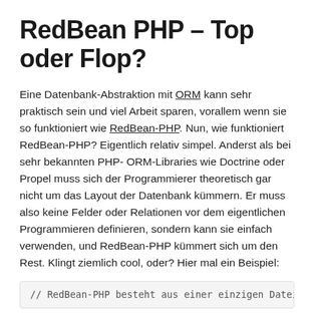RedBean PHP – Top oder Flop?
Eine Datenbank-Abstraktion mit ORM kann sehr praktisch sein und viel Arbeit sparen, vorallem wenn sie so funktioniert wie RedBean-PHP.
Nun, wie funktioniert RedBean-PHP? Eigentlich relativ simpel. Anderst als bei sehr bekannten PHP-ORM-Libraries wie Doctrine oder Propel muss sich der Programmierer theoretisch gar nicht um das Layout der Datenbank kümmern. Er muss also keine Felder oder Relationen vor dem eigentlichen Programmieren definieren, sondern kann sie einfach verwenden, und RedBean-PHP kümmert sich um den Rest. Klingt ziemlich cool, oder? Hier mal ein Beispiel:
// RedBean-PHP besteht aus einer einzigen Datei